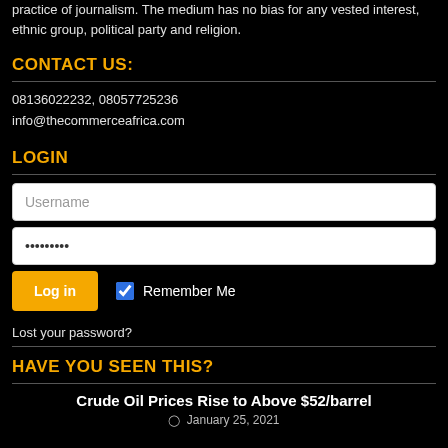practice of journalism. The medium has no bias for any vested interest, ethnic group, political party and religion.
Contact Us:
08136022232, 08057725236
info@thecommerceafrica.com
Login
[Figure (screenshot): Login form with Username text input, password input showing dots, Log in button in orange, and Remember Me checkbox (checked)]
Lost your password?
Have You Seen This?
Crude Oil Prices Rise to Above $52/barrel
January 25, 2021